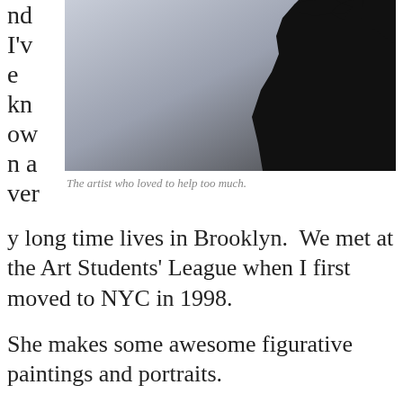nd I've known a ver
[Figure (photo): Silhouette of a person (rock climber) against a light grey background, only the upper right portion visible. High contrast black silhouette.]
The artist who loved to help too much.
y long time lives in Brooklyn.  We met at the Art Students' League when I first moved to NYC in 1998.
She makes some awesome figurative paintings and portraits.
I've known her so long, and rubbed shoulders with her so many times, I was tempted to assume she "knows everything I know." (ALL of us succumb to